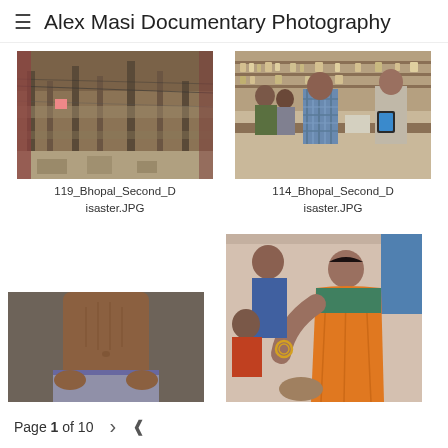≡ Alex Masi Documentary Photography
[Figure (photo): Aerial view of a densely packed urban slum area with makeshift structures, electrical wires, and debris — Bhopal documentary photo]
119_Bhopal_Second_Disaster.JPG
[Figure (photo): People working in a laboratory or pharmacy setting, man in checkered shirt at counter with shelves of bottles in background — Bhopal documentary photo]
114_Bhopal_Second_Disaster.JPG
[Figure (photo): Close-up of a shirtless man's torso and hands resting on lap — Bhopal documentary photo]
[Figure (photo): Two women, one in orange sari attending to another person lying down, with blue wall in background — Bhopal documentary photo]
Page 1 of 10  >  share